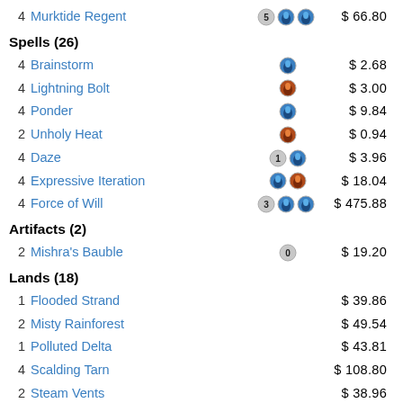4 Murktide Regent $66.80
Spells (26)
4 Brainstorm $2.68
4 Lightning Bolt $3.00
4 Ponder $9.84
2 Unholy Heat $0.94
4 Daze $3.96
4 Expressive Iteration $18.04
4 Force of Will $475.88
Artifacts (2)
2 Mishra's Bauble $19.20
Lands (18)
1 Flooded Strand $39.86
2 Misty Rainforest $49.54
1 Polluted Delta $43.81
4 Scalding Tarn $108.80
2 Steam Vents $38.96
4 Volcanic Island $3,244.76
4 Wasteland $99.96